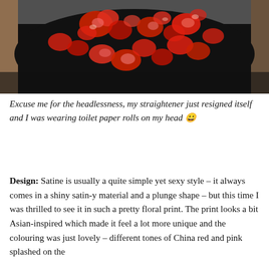[Figure (photo): Close-up photo of a person wearing a black floral bra/top with red and pink flower print pattern. The image is cropped so the person's head is not visible.]
Excuse me for the headlessness, my straightener just resigned itself and I was wearing toilet paper rolls on my head 😀
Design: Satine is usually a quite simple yet sexy style – it always comes in a shiny satin-y material and a plunge shape – but this time I was thrilled to see it in such a pretty floral print. The print looks a bit Asian-inspired which made it feel a lot more unique and the colouring was just lovely – different tones of China red and pink splashed on the